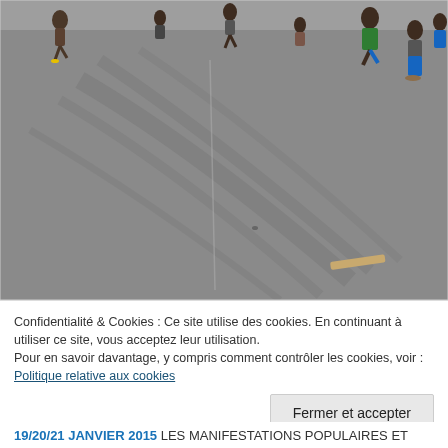[Figure (photo): Outdoor scene showing people on a large paved area (asphalt/concrete) with skid marks. Several people visible in background, one person wearing green and white, others in casual clothing. Appears to be a public square or parking lot in an African setting.]
Confidentialité & Cookies : Ce site utilise des cookies. En continuant à utiliser ce site, vous acceptez leur utilisation.
Pour en savoir davantage, y compris comment contrôler les cookies, voir : Politique relative aux cookies
19/20/21 JANVIER 2015 LES MANIFESTATIONS POPULAIRES ET